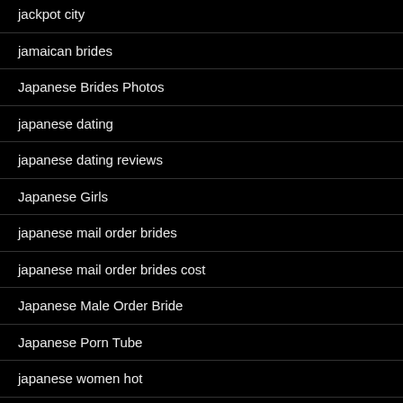jackpot city
jamaican brides
Japanese Brides Photos
japanese dating
japanese dating reviews
Japanese Girls
japanese mail order brides
japanese mail order brides cost
Japanese Male Order Bride
Japanese Porn Tube
japanese women hot
jewish dating
jewish dating review